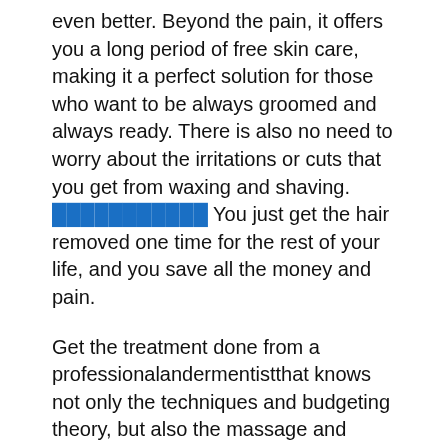even better. Beyond the pain, it offers you a long period of free skin care, making it a perfect solution for those who want to be always groomed and always ready. There is also no need to worry about the irritations or cuts that you get from waxing and shaving. [link] You just get the hair removed one time for the rest of your life, and you save all the money and pain.
Get the treatment done from a professionalandermentistthat knows not only the techniques and budgeting theory, but also the massage and lymphatic drainage methods as well.
If spending lots of money isn't putting you off, then you may want to consider finding aomatic electrolysis machines in your nearest spa. Aomatic electrolysis is a gentle electrolysis that wandishes with lots of gentle electric currents to destroy hair